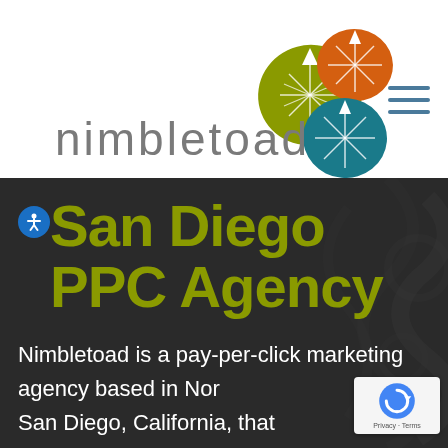[Figure (logo): Nimbletoad logo with three lily pad shapes in olive green, orange, and teal colors with starburst patterns, and the text 'nimbletoad' in light gray below]
San Diego PPC Agency
Nimbletoad is a pay-per-click marketing agency based in North San Diego, California, that